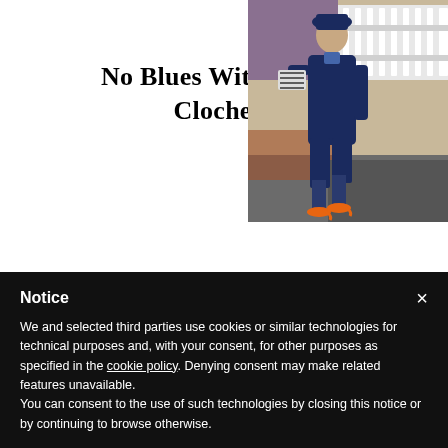No Blues With My Cloche Hat!
[Figure (photo): A woman dressed in a navy blue outfit with orange heels walking outdoors on a brick/asphalt surface near a white picket fence and beige wall. She carries a zebra-print clutch.]
SEARCH...
Notice
We and selected third parties use cookies or similar technologies for technical purposes and, with your consent, for other purposes as specified in the cookie policy. Denying consent may make related features unavailable.
You can consent to the use of such technologies by closing this notice or by continuing to browse otherwise.